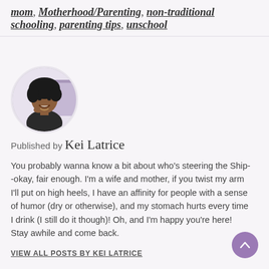mom, Motherhood/Parenting, non-traditional schooling, parenting tips, unschool
[Figure (photo): Circular profile photo of Kei Latrice, a woman with curly hair, smiling, wearing a dark top, chin resting on hand]
Published by Kei Latrice
You probably wanna know a bit about who's steering the Ship--okay, fair enough. I'm a wife and mother, if you twist my arm I'll put on high heels, I have an affinity for people with a sense of humor (dry or otherwise), and my stomach hurts every time I drink (I still do it though)! Oh, and I'm happy you're here! Stay awhile and come back.
VIEW ALL POSTS BY KEI LATRICE